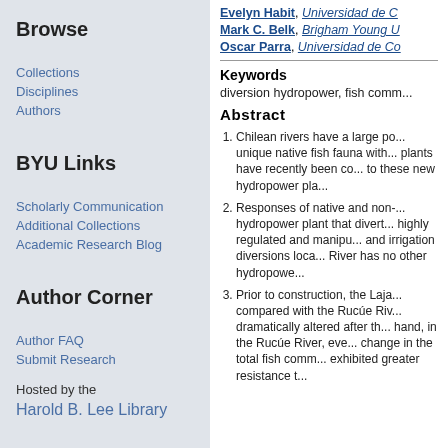Browse
Collections
Disciplines
Authors
BYU Links
Scholarly Communication
Additional Collections
Academic Research Blog
Author Corner
Author FAQ
Submit Research
Hosted by the Harold B. Lee Library
Evelyn Habit, Universidad de C...
Mark C. Belk, Brigham Young U...
Oscar Parra, Universidad de Co...
Keywords
diversion hydropower, fish comm...
Abstract
Chilean rivers have a large po... unique native fish fauna with... plants have recently been co... to these new hydropower pla...
Responses of native and non-... hydropower plant that divert... highly regulated and manipu... and irrigation diversions loca... River has no other hydropowe...
Prior to construction, the Laja... compared with the Rucúe Riv... dramatically altered after th... hand, in the Rucúe River, eve... change in the total fish comm... exhibited greater resistance t...